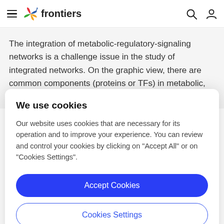frontiers
The integration of metabolic-regulatory-signaling networks is a challenge issue in the study of integrated networks. On the graphic view, there are common components (proteins or TFs) in metabolic, regulatory
We use cookies
Our website uses cookies that are necessary for its operation and to improve your experience. You can review and control your cookies by clicking on "Accept All" or on "Cookies Settings".
Accept Cookies
Cookies Settings